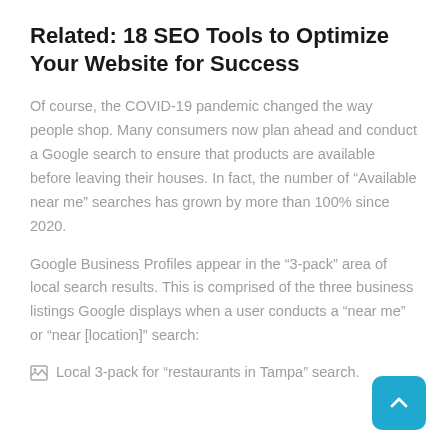Related: 18 SEO Tools to Optimize Your Website for Success
Of course, the COVID-19 pandemic changed the way people shop. Many consumers now plan ahead and conduct a Google search to ensure that products are available before leaving their houses. In fact, the number of “Available near me” searches has grown by more than 100% since 2020.
Google Business Profiles appear in the “3-pack” area of local search results. This is comprised of the three business listings Google displays when a user conducts a “near me” or “near [location]” search:
Local 3-pack for “restaurants in Tampa” search.